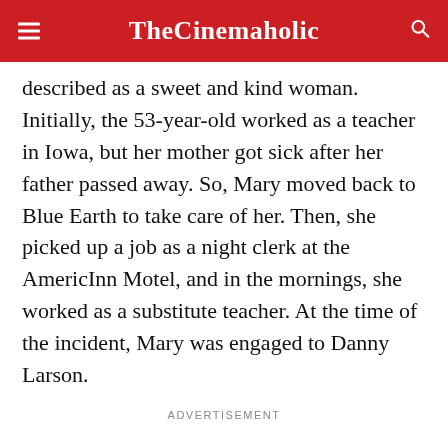TheCinemaholic
described as a sweet and kind woman. Initially, the 53-year-old worked as a teacher in Iowa, but her mother got sick after her father passed away. So, Mary moved back to Blue Earth to take care of her. Then, she picked up a job as a night clerk at the AmericInn Motel, and in the mornings, she worked as a substitute teacher. At the time of the incident, Mary was engaged to Danny Larson.
ADVERTISEMENT